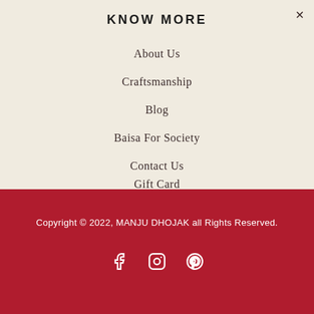KNOW MORE
About Us
Craftsmanship
Blog
Baisa For Society
Contact Us
Gift Card
Copyright © 2022, MANJU DHOJAK all Rights Reserved.
[Figure (illustration): Social media icons: Facebook, Instagram, Pinterest (white on dark red background)]